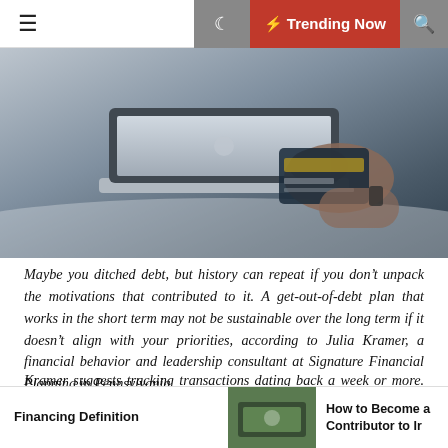☰  🌙  ⚡ Trending Now  🔍
[Figure (photo): Person holding a credit card in front of an open laptop computer]
Maybe you ditched debt, but history can repeat if you don't unpack the motivations that contributed to it. A get-out-of-debt plan that works in the short term may not be sustainable over the long term if it doesn't align with your priorities, according to Julia Kramer, a financial behavior and leadership consultant at Signature Financial Planning in Pennsylvania.
Kramer suggests tracking transactions dating back a week or more. Add a plus sign next to those purchases you're willing to repeat and a minus sign next to those you're not. For obligatory purchases like gas and groceries, add an equal sign.
Financing Definition    How to Become a Contributor to Ir